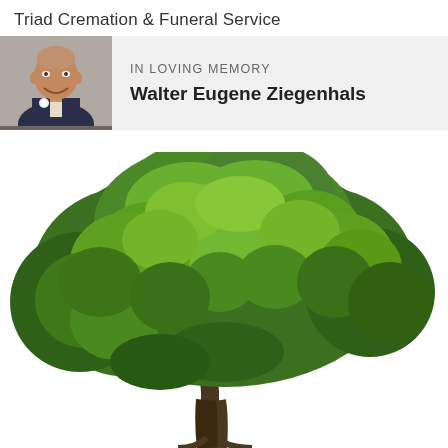Triad Cremation & Funeral Service
IN LOVING MEMORY
Walter Eugene Ziegenhals
[Figure (photo): Large green deciduous tree with full canopy on white background, photographed from ground level showing trunk and spreading branches covered with lush green leaves.]